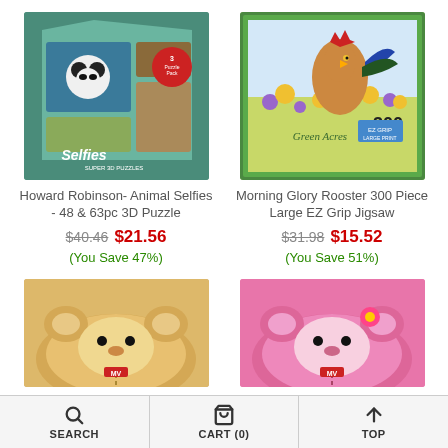[Figure (photo): Howard Robinson Animal Selfies 48 & 63pc 3D Puzzle box with panda and animal images]
Howard Robinson- Animal Selfies - 48 & 63pc 3D Puzzle
$40.46  $21.56
(You Save 47%)
[Figure (photo): Morning Glory Rooster 300 Piece Large EZ Grip Jigsaw puzzle box with rooster in sunflowers]
Morning Glory Rooster 300 Piece Large EZ Grip Jigsaw
$31.98  $15.52
(You Save 51%)
[Figure (photo): Tan/brown plush stuffed animal toy, partially visible]
[Figure (photo): Pink plush stuffed animal toy, partially visible]
SEARCH   CART (0)   TOP